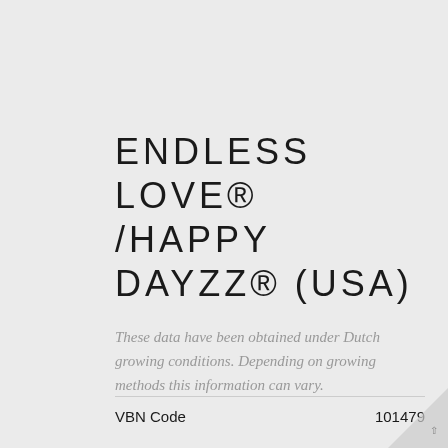ENDLESS LOVE® /HAPPY DAYZZ® (USA)
These data have been obtained under Dutch growing conditions. Depending on growing methods this information can vary.
VBN Code   101479